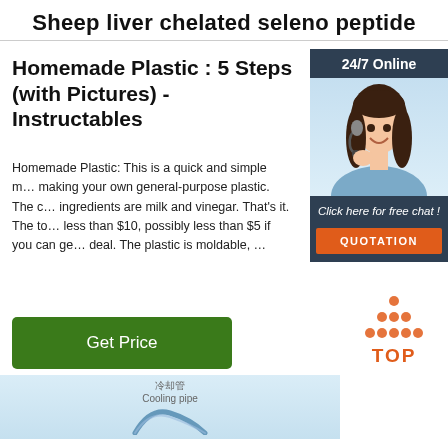Sheep liver chelated seleno peptide
Homemade Plastic : 5 Steps (with Pictures) - Instructables
Homemade Plastic: This is a quick and simple method for making your own general-purpose plastic. The core ingredients are milk and vinegar. That's it. The total cost is less than $10, possibly less than $5 if you can get a good deal. The plastic is moldable, …
[Figure (photo): Customer service representative woman with headset, 24/7 Online chat widget with QUOTATION button]
Get Price
[Figure (infographic): TOP button with orange dots arranged in triangle above text]
[Figure (illustration): Bottom cooling pipe diagram illustration with Chinese label 冷却管 Cooling pipe]